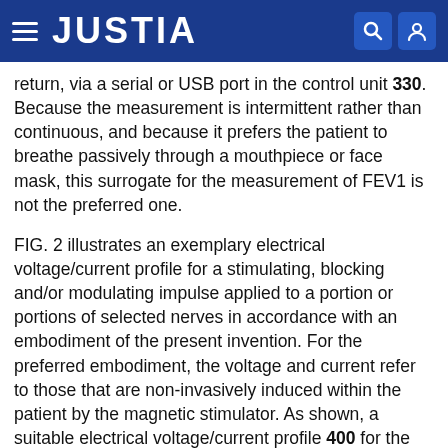JUSTIA
return, via a serial or USB port in the control unit 330. Because the measurement is intermittent rather than continuous, and because it prefers the patient to breathe passively through a mouthpiece or face mask, this surrogate for the measurement of FEV1 is not the preferred one.
FIG. 2 illustrates an exemplary electrical voltage/current profile for a stimulating, blocking and/or modulating impulse applied to a portion or portions of selected nerves in accordance with an embodiment of the present invention. For the preferred embodiment, the voltage and current refer to those that are non-invasively induced within the patient by the magnetic stimulator. As shown, a suitable electrical voltage/current profile 400 for the blocking and/or modulating impulse 410 to the portion or portions of a